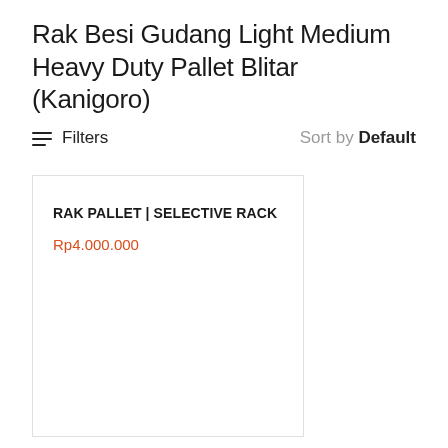Rak Besi Gudang Light Medium Heavy Duty Pallet Blitar (Kanigoro)
Filters   Sort by Default
RAK PALLET | SELECTIVE RACK
Rp4.000.000